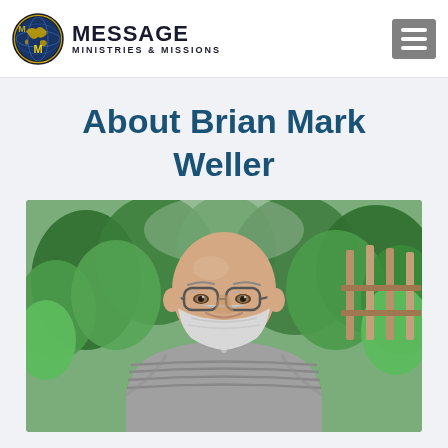MESSAGE MINISTRIES & MISSIONS
About Brian Mark Weller
[Figure (photo): Portrait photo of Brian Mark Weller, a bald older man with glasses and a white beard, smiling, wearing a grey striped polo shirt, with green leafy trees and a wooden fence in the background.]